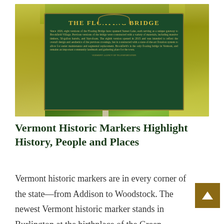[Figure (photo): A green historic marker sign reading 'THE FLOATING BRIDGE' with descriptive text about the bridge spanning Sunset Lake in Brookfield Village, Vermont. The sign is mounted on a post surrounded by yellow-green spring foliage.]
Vermont Historic Markers Highlight History, People and Places
Vermont historic markers are in every corner of the state—from Addison to Woodstock. The newest Vermont historic marker stands in Burlington at the birthplace of the Green Mountain Club. Of the nearly